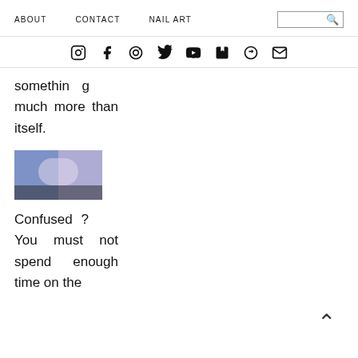ABOUT   CONTACT   NAIL ART
[Figure (illustration): Social media icon bar: Instagram, Facebook, Pinterest, Twitter, YouTube, Tumblr, Snapchat, Email]
something much more than itself.
[Figure (photo): Thumbnail photo of nail art with blue/purple design]
Confused? You must not spend enough time on the